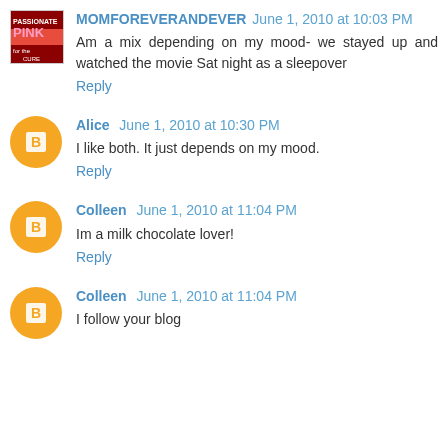MOMFOREVERANDEVER  June 1, 2010 at 10:03 PM
Am a mix depending on my mood- we stayed up and watched the movie Sat night as a sleepover
Reply
Alice  June 1, 2010 at 10:30 PM
I like both. It just depends on my mood.
Reply
Colleen  June 1, 2010 at 11:04 PM
Im a milk chocolate lover!
Reply
Colleen  June 1, 2010 at 11:04 PM
I follow your blog